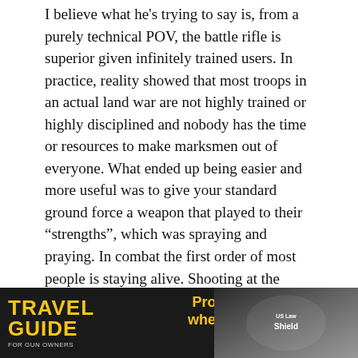I believe what he's trying to say is, from a purely technical POV, the battle rifle is superior given infinitely trained users. In practice, reality showed that most troops in an actual land war are not highly trained or highly disciplined and nobody has the time or resources to make marksmen out of everyone. What ended up being easier and more useful was to give your standard ground force a weapon that played to their “strengths”, which was spraying and praying. In combat the first order of most people is staying alive. Shooting at the enemy is just something you do to facilitate the former. If they’re not going to be shooting people at 300-400 yards with any accuracy, then you might as well give them a bullet light enough to carry more of them at 100-200 rounds
[Figure (other): Advertisement banner for 'Travel Guide for Gun Owners' with tagline 'Protect yourself wherever you go.' featuring play button arrows and US LawShield logo on dark background with motion-blur imagery]